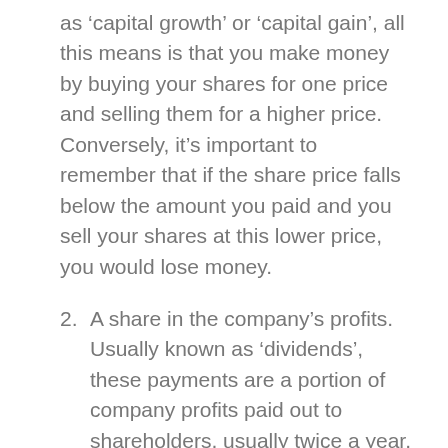as ‘capital growth’ or ‘capital gain’, all this means is that you make money by buying your shares for one price and selling them for a higher price. Conversely, it’s important to remember that if the share price falls below the amount you paid and you sell your shares at this lower price, you would lose money.
2. A share in the company’s profits. Usually known as ‘dividends’, these payments are a portion of company profits paid out to shareholders, usually twice a year. Companies don’t have to pay dividends,